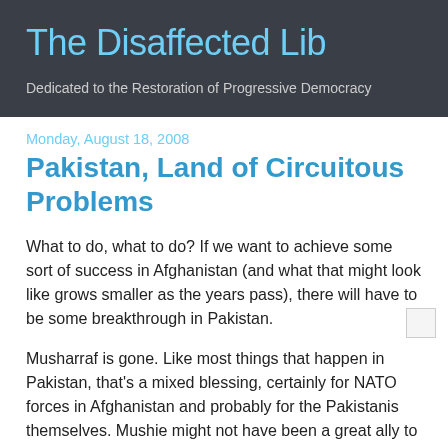The Disaffected Lib
Dedicated to the Restoration of Progressive Democracy
Monday, August 18, 2008
Pakistan, Land of Circuitous Problems
What to do, what to do? If we want to achieve some sort of success in Afghanistan (and what that might look like grows smaller as the years pass), there will have to be some breakthrough in Pakistan.
Musharraf is gone. Like most things that happen in Pakistan, that's a mixed blessing, certainly for NATO forces in Afghanistan and probably for the Pakistanis themselves. Mushie might not have been a great ally to the West in the